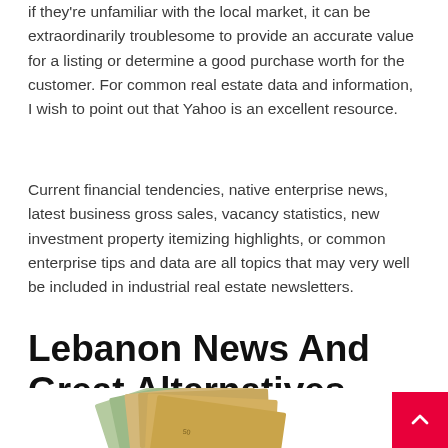if they're unfamiliar with the local market, it can be extraordinarily troublesome to provide an accurate value for a listing or determine a good purchase worth for the customer. For common real estate data and information, I wish to point out that Yahoo is an excellent resource.
Current financial tendencies, native enterprise news, latest business gross sales, vacancy statistics, new investment property itemizing highlights, or common enterprise tips and data are all topics that may very well be included in industrial real estate newsletters.
Lebanon News And Great Alternatives
[Figure (photo): Stack of Euro banknotes arranged to look like a house or fan shape, partially visible at the bottom of the page]